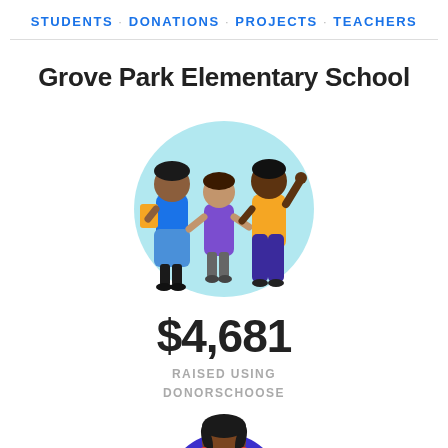STUDENTS · DONATIONS · PROJECTS · TEACHERS
Grove Park Elementary School
[Figure (illustration): Three illustrated figures standing together: a woman in blue holding a yellow book, a child in purple in the center, and a person in orange jacket raising one hand, all on a light blue circular background.]
$4,681
RAISED USING DONORSCHOOSE
[Figure (illustration): Partial illustration of a student figure with braids, wearing a white shirt, on a dark blue/purple circular background — cropped at the bottom of the page.]